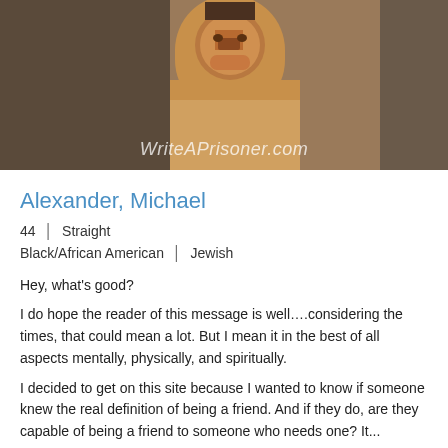[Figure (photo): Close-up portrait photo of a person, with WriteAPrisoner.com watermark overlay at the bottom]
Alexander, Michael
44 | Straight
Black/African American | Jewish
Hey, what’s good?
I do hope the reader of this message is well….considering the times, that could mean a lot. But I mean it in the best of all aspects mentally, physically, and spiritually.
I decided to get on this site because I wanted to know if someone knew the real definition of being a friend. And if they do, are they capable of being a friend to someone who needs one? It...
Profile Alert! Turns 45 on 09/06!
[Figure (photo): Black and white portrait photo of a person, partially visible at bottom of page]